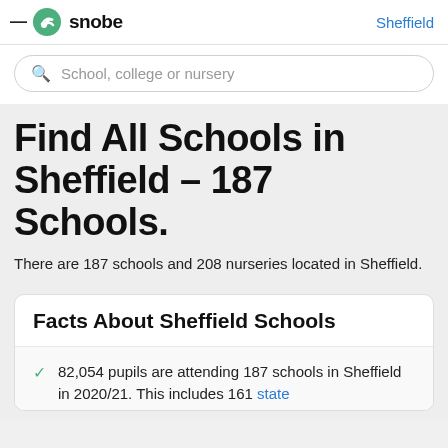snobe | Sheffield
School, college or nursery
Find All Schools in Sheffield – 187 Schools.
There are 187 schools and 208 nurseries located in Sheffield.
Facts About Sheffield Schools
82,054 pupils are attending 187 schools in Sheffield in 2020/21. This includes 161 state…